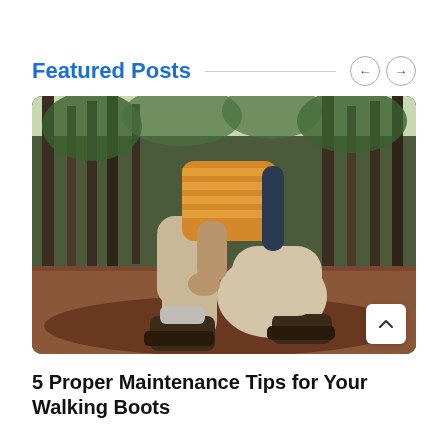Featured Posts
[Figure (photo): Person crouching on a forest trail wearing a yellow striped shirt, beige pants, and brown hiking boots, with a backpack, adjusting their boot laces.]
5 Proper Maintenance Tips for Your Walking Boots